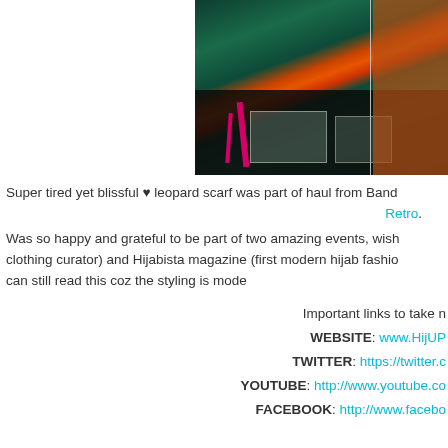[Figure (photo): Photo of a person holding bags with floral clothing visible, pink straps on dark bag with clear plastic packaging]
Super tired yet blissful ♥ leopard scarf was part of haul from Band Retro.
Was so happy and grateful to be part of two amazing events, wish clothing curator) and Hijabista magazine (first modern hijab fashio can still read this coz the styling is mode
Important links to take n
WEBSITE: www.HijUP...
TWITTER: https://twitter.c...
YOUTUBE: http://www.youtube.co...
FACEBOOK: http://www.facebo...

FACEBOOK: http://www.facebook.co...
TWITTER: https://twitter.com/#...